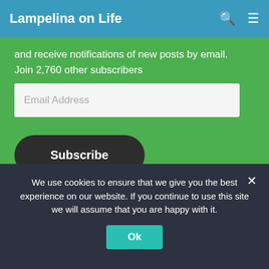Lampelina on Life
and receive notifications of new posts by email. Join 2,760 other subscribers
Email Address
Subscribe
Trending 🔥
We use cookies to ensure that we give you the best experience on our website. If you continue to use this site we will assume that you are happy with it.
Ok